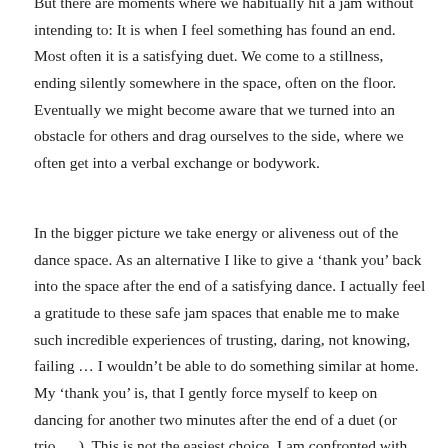But there are moments where we habitually hit a jam without intending to: It is when I feel something has found an end. Most often it is a satisfying duet. We come to a stillness, ending silently somewhere in the space, often on the floor. Eventually we might become aware that we turned into an obstacle for others and drag ourselves to the side, where we often get into a verbal exchange or bodywork.
In the bigger picture we take energy or aliveness out of the dance space. As an alternative I like to give a 'thank you' back into the space after the end of a satisfying dance. I actually feel a gratitude to these safe jam spaces that enable me to make such incredible experiences of trusting, daring, not knowing, failing … I wouldn't be able to do something similar at home. My 'thank you' is, that I gently force myself to keep on dancing for another two minutes after the end of a duet (or trio, …). This is not the easiest choice. I am confronted with being lost and confused. But it is